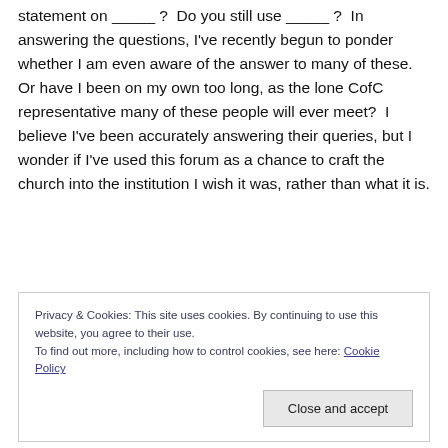statement on _____ ?  Do you still use _____ ?  In answering the questions, I've recently begun to ponder whether I am even aware of the answer to many of these. Or have I been on my own too long, as the lone CofC representative many of these people will ever meet?  I believe I've been accurately answering their queries, but I wonder if I've used this forum as a chance to craft the church into the institution I wish it was, rather than what it is.
Privacy & Cookies: This site uses cookies. By continuing to use this website, you agree to their use.
To find out more, including how to control cookies, see here: Cookie Policy
Close and accept